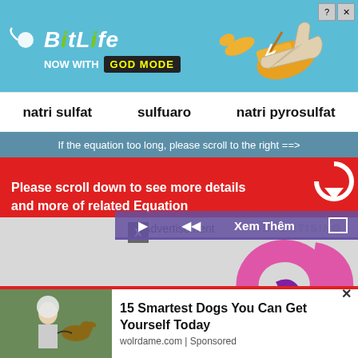[Figure (screenshot): BitLife advertisement banner with 'NOW WITH GOD MODE' text, hand pointing graphic, on teal background with close and help buttons]
natri sulfat   sulfuaro   natri pyrosulfat
If the equation too long, please scroll to the right ==>
Please scroll down to see more details and more of related Equation
[Figure (screenshot): Advertisement section showing Ureka Media logo with video player controls including play, rewind, Xem Them button, and fullscreen button on purple bar]
[Figure (screenshot): Bottom advertisement showing '15 Smartest Dogs You Can Get Yourself Today' from wolrdame.com | Sponsored, with photo of person and dog]